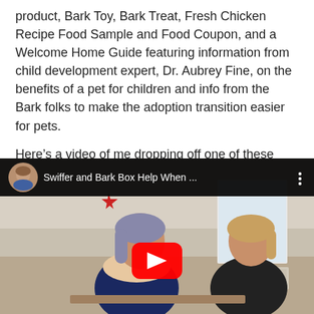product, Bark Toy, Bark Treat, Fresh Chicken Recipe Food Sample and Food Coupon, and a Welcome Home Guide featuring information from child development expert, Dr. Aubrey Fine, on the benefits of a pet for children and info from the Bark folks to make the adoption transition easier for pets.
Here's a video of me dropping off one of these very special boxes to my local animal shelter, R.O.A.R.
[Figure (screenshot): Embedded YouTube video thumbnail titled 'Swiffer and Bark Box Help When ...' showing two women talking indoors, with a red YouTube play button centered on the image and a video top bar with avatar and title.]